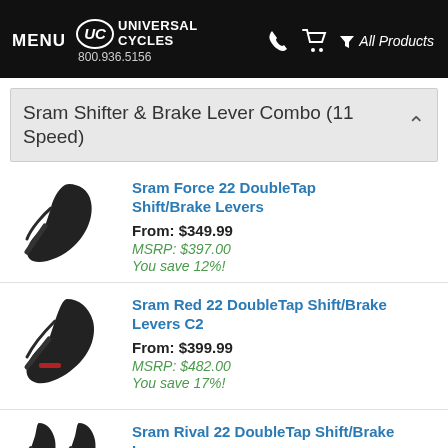MENU  UC UNIVERSAL CYCLES  800.936.5156  All Products
Sram Shifter & Brake Lever Combo (11 Speed)
[Figure (photo): Black SRAM Force 22 DoubleTap shift/brake lever]
Sram Force 22 DoubleTap Shift/Brake Levers
From: $349.99
MSRP: $397.00
You save 12%!
[Figure (photo): Black SRAM Red 22 DoubleTap shift/brake lever C2 with red accent]
Sram Red 22 DoubleTap Shift/Brake Levers C2
From: $399.99
MSRP: $482.00
You save 17%!
[Figure (photo): Black SRAM Rival 22 DoubleTap shift/brake levers pair]
Sram Rival 22 DoubleTap Shift/Brake Levers